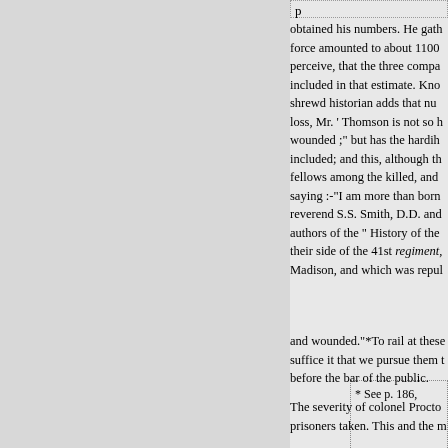obtained his numbers. He gath force amounted to about 1100 perceive, that the three compa included in that estimate. Kno shrewd historian adds that nu loss, Mr. ' Thomson is not so h wounded ;" but has the hardih included; and this, although t fellows among the killed, and saying :-"I am more than bor reverend S.S. Smith, D.D. and authors of the " History of the their side of the 41st regiment, Madison, and which was repu
* See p. 186,
and wounded."*To rail at these suffice it that we pursue them t before the bar of the public.
The severity of colonel Procto prisoners taken. This and the m